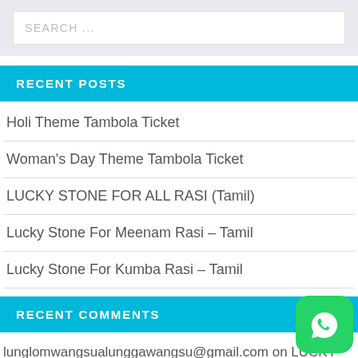[Figure (screenshot): Search input box with placeholder text SEARCH ...]
RECENT POSTS
Holi Theme Tambola Ticket
Woman's Day Theme Tambola Ticket
LUCKY STONE FOR ALL RASI (Tamil)
Lucky Stone For Meenam Rasi – Tamil
Lucky Stone For Kumba Rasi – Tamil
RECENT COMMENTS
lunglomwangsualunggawangsu@gmail.com on LUCKY STONE FOR ALL RASI (Tamil)